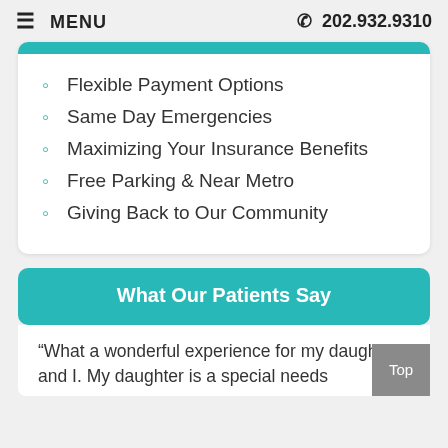≡ MENU   ☎ 202.932.9310
Flexible Payment Options
Same Day Emergencies
Maximizing Your Insurance Benefits
Free Parking & Near Metro
Giving Back to Our Community
What Our Patients Say
“What a wonderful experience for my daughter and I. My daughter is a special needs